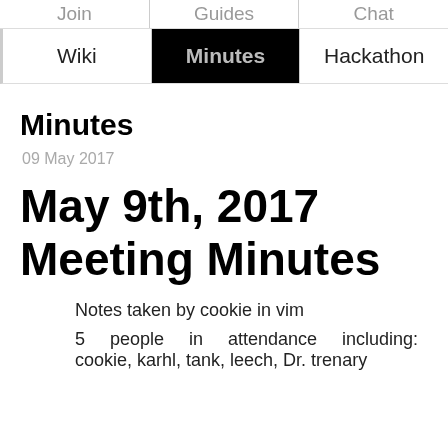Join | Guides | Chat
Wiki | Minutes | Hackathon
Minutes
09 May 2017
May 9th, 2017 Meeting Minutes
Notes taken by cookie in vim
5 people in attendance including: cookie, karhl, tank, leech, Dr. trenary